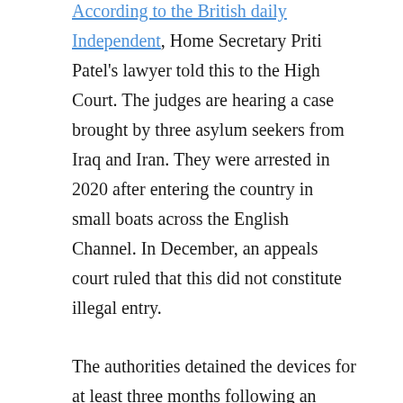According to the British daily Independent, Home Secretary Priti Patel's lawyer told this to the High Court. The judges are hearing a case brought by three asylum seekers from Iraq and Iran. They were arrested in 2020 after entering the country in small boats across the English Channel. In December, an appeals court ruled that this did not constitute illegal entry.
The authorities detained the devices for at least three months following an order and examined them forensically. According to the newspaper, in search of phone numbers, messages, pictures, videos, traffic data and GPS coordinates the entire memory of the devices was read out. The plaintiffs' lawyers believe that the practice could affect hundreds or thousands of mobile phones a year. This is contrary to data protection and the European Convention on Human Rights. The British Home Office...